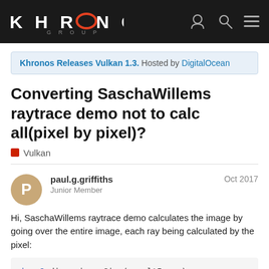Khronos Group — site header with logo, Log In, search, and menu icons
Khronos Releases Vulkan 1.3. Hosted by DigitalOcean
Converting SaschaWillems raytrace demo not to calc all(pixel by pixel)?
Vulkan
paul.g.griffiths
Junior Member
Oct 2017
Hi, SaschaWillems raytrace demo calculates the image by going over the entire image, each ray being calculated by the pixel:
ivec2 dim = imageSize(resultImage);
    vec2 uv = vec2(gl_GlobalInvocationID.xy) /

        vec3 rayO = ubo.camera.pos
        vec3 rayD = normalize(vec3
1 / 10